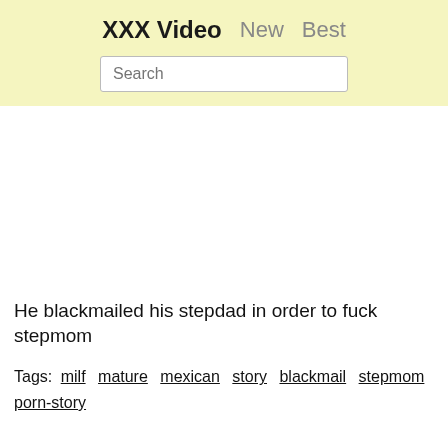XXX Video  New  Best
Search
He blackmailed his stepdad in order to fuck stepmom
Tags: milf  mature  mexican  story  blackmail  stepmom  porn-story